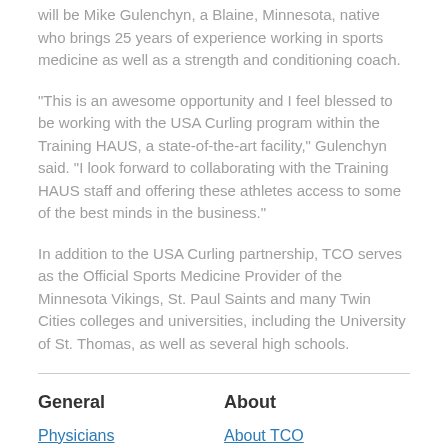will be Mike Gulenchyn, a Blaine, Minnesota, native who brings 25 years of experience working in sports medicine as well as a strength and conditioning coach.
“This is an awesome opportunity and I feel blessed to be working with the USA Curling program within the Training HAUS, a state-of-the-art facility,” Gulenchyn said. “I look forward to collaborating with the Training HAUS staff and offering these athletes access to some of the best minds in the business.”
In addition to the USA Curling partnership, TCO serves as the Official Sports Medicine Provider of the Minnesota Vikings, St. Paul Saints and many Twin Cities colleges and universities, including the University of St. Thomas, as well as several high schools.
General
About
Physicians
About TCO